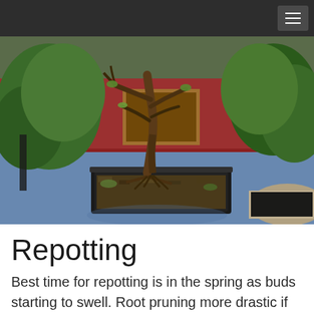[Figure (photo): A bonsai tree with exposed roots sitting in a dark rectangular pot on a blue surface. The tree has bare branches and visible root structure above the soil. Other green leafy plants (Japanese maple style) are visible in the background, along with red ground cover. The scene appears to be a bonsai workshop or display setting.]
Repotting
Best time for repotting is in the spring as buds starting to swell. Root pruning more drastic if tree healthy. Consider washing root ball if poor soil or developing root plate. Promote fibrous roots and